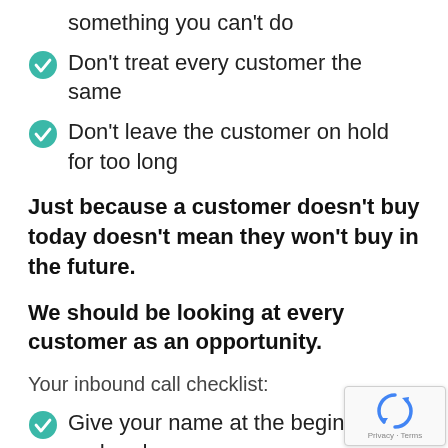something you can't do
Don't treat every customer the same
Don't leave the customer on hold for too long
Just because a customer doesn't buy today doesn't mean they won't buy in the future.
We should be looking at every customer as an opportunity.
Your inbound call checklist:
Give your name at the beginning and end